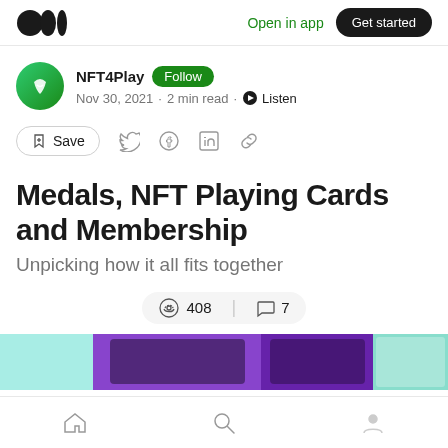Open in app  Get started
NFT4Play  Follow
Nov 30, 2021 · 2 min read · Listen
Save
Medals, NFT Playing Cards and Membership
Unpicking how it all fits together
408  7
[Figure (screenshot): Preview image strip with teal/purple background showing partial article header images]
Home  Search  Profile